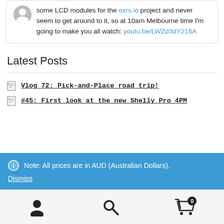some LCD modules for the oxrs.io project and never seem to get around to it, so at 10am Melbourne time I'm going to make you all watch: youtu.be/LWZd3dY216A
Latest Posts
Vlog 72: Pick-and-Place road trip!
#45: First look at the new Shelly Pro 4PM
Note: All prices are in AUD (Australian Dollars).
Dismiss